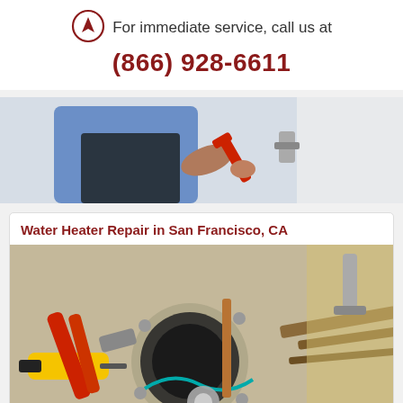[Figure (logo): Circular logo with upward arrow, dark red border]
For immediate service, call us at
(866) 928-6611
[Figure (photo): Plumber/technician in blue shirt and dark apron holding red pipe wrench near water heater]
Water Heater Repair in San Francisco, CA
[Figure (photo): Close-up of water heater internals including pliers, yellow tool, copper pipe, and corroded heating element]